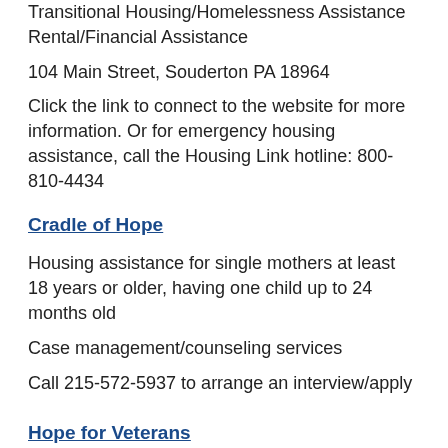Transitional Housing/Homelessness Assistance
Rental/Financial Assistance
104 Main Street, Souderton PA 18964
Click the link to connect to the website for more information. Or for emergency housing assistance, call the Housing Link hotline: 800-810-4434
Cradle of Hope
Housing assistance for single mothers at least 18 years or older, having one child up to 24 months old
Case management/counseling services
Call 215-572-5937 to arrange an interview/apply
Hope for Veterans
(Supportive Services for Veterans and Families)